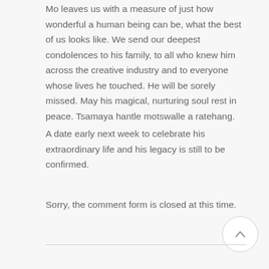Mo leaves us with a measure of just how wonderful a human being can be, what the best of us looks like. We send our deepest condolences to his family, to all who knew him across the creative industry and to everyone whose lives he touched. He will be sorely missed. May his magical, nurturing soul rest in peace. Tsamaya hantle motswalle a ratehang.
A date early next week to celebrate his extraordinary life and his legacy is still to be confirmed.
Sorry, the comment form is closed at this time.